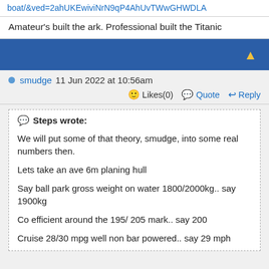boat/&ved=2ahUKEwiviNrN9qP4AhUvTWwGHWDLA
Amateur's built the ark. Professional built the Titanic
[Figure (other): Dark blue navigation bar with a yellow upward arrow icon on the right]
smudge 11 Jun 2022 at 10:56am
😊 Likes(0)  💬 Quote  ↩ Reply
💬 Steps wrote:

We will put some of that theory, smudge, into some real numbers then.

Lets take an ave 6m planing hull

Say ball park gross weight on water 1800/2000kg.. say 1900kg

Co efficient around the 195/ 205 mark.. say 200

Cruise 28/30 mpg well non bar powered.. say 29 mph